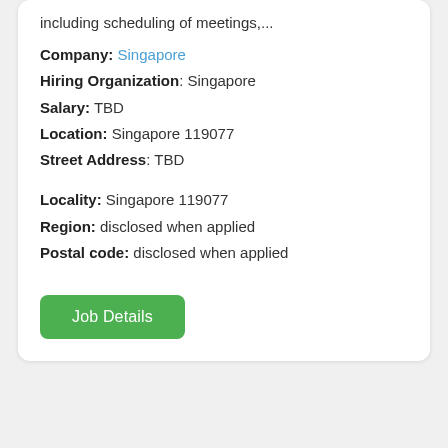including scheduling of meetings,...
Company: Singapore
Hiring Organization: Singapore
Salary: TBD
Location: Singapore 119077
Street Address: TBD
Locality: Singapore 119077
Region: disclosed when applied
Postal code: disclosed when applied
Job Details